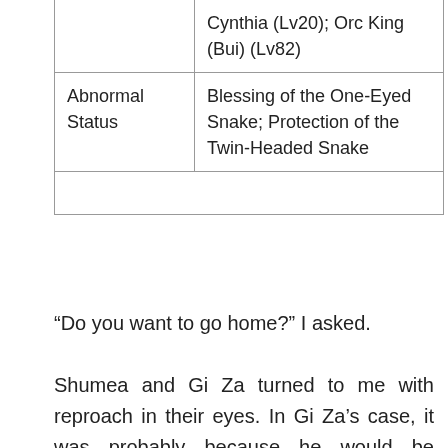|  | Cynthia (Lv20); Orc King (Bui) (Lv82) |
| Abnormal Status | Blessing of the One-Eyed Snake; Protection of the Twin-Headed Snake |
|  |  |
“Do you want to go home?” I asked.
Shumea and Gi Za turned to me with reproach in their eyes. In Gi Za’s case, it was probably because he would be troubled by the elf’s absence, while in Shumea’s, it